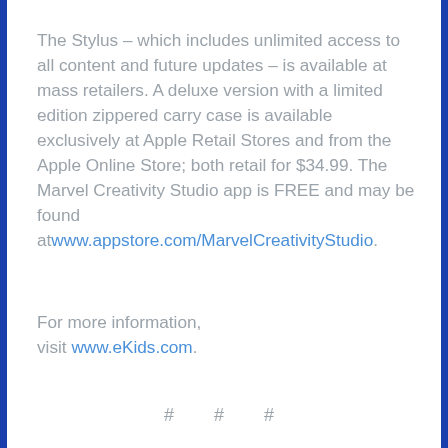The Stylus – which includes unlimited access to all content and future updates – is available at mass retailers.  A deluxe version with a limited edition zippered carry case is available exclusively at Apple Retail Stores and from the Apple Online Store; both retail for $34.99. The Marvel Creativity Studio app is FREE and may be found atwww.appstore.com/MarvelCreativityStudio.
For more information, visit www.eKids.com.
# # #